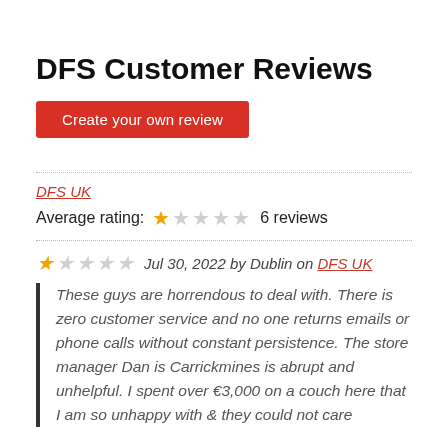DFS Customer Reviews
Create your own review
DFS UK
Average rating: 1 out of 5 stars  6 reviews
1 star  Jul 30, 2022 by Dublin on DFS UK
These guys are horrendous to deal with. There is zero customer service and no one returns emails or phone calls without constant persistence. The store manager Dan is Carrickmines is abrupt and unhelpful. I spent over €3,000 on a couch here that I am so unhappy with & they could not care